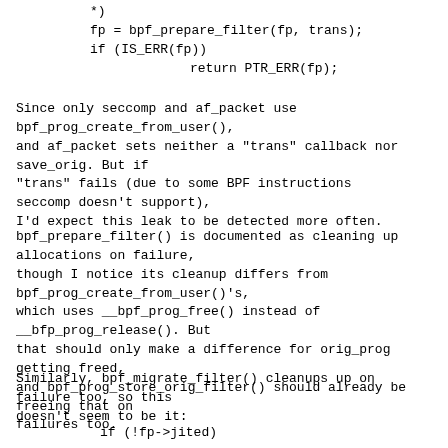fp = bpf_prepare_filter(fp, trans);
			if (IS_ERR(fp))
					return PTR_ERR(fp);
Since only seccomp and af_packet use bpf_prog_create_from_user(), and af_packet sets neither a "trans" callback nor save_orig. But if "trans" fails (due to some BPF instructions seccomp doesn't support), I'd expect this leak to be detected more often.
bpf_prepare_filter() is documented as cleaning up allocations on failure, though I notice its cleanup differs from bpf_prog_create_from_user()'s, which uses __bpf_prog_free() instead of __bfp_prog_release(). But that should only make a difference for orig_prog getting freed, and bpf_prog_store_orig_filter() should already be freeing that on failures too.
Similarly, bpf_migrate_filter() cleanups up on failure too, so this doesn't seem to be it:
if (!fp->jited)